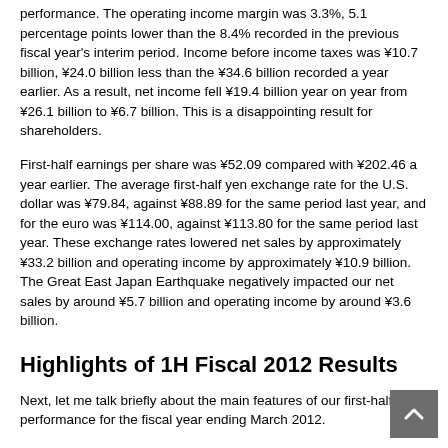performance. The operating income margin was 3.3%, 5.1 percentage points lower than the 8.4% recorded in the previous fiscal year's interim period. Income before income taxes was ¥10.7 billion, ¥24.0 billion less than the ¥34.6 billion recorded a year earlier. As a result, net income fell ¥19.4 billion year on year from ¥26.1 billion to ¥6.7 billion. This is a disappointing result for shareholders.
First-half earnings per share was ¥52.09 compared with ¥202.46 a year earlier. The average first-half yen exchange rate for the U.S. dollar was ¥79.84, against ¥88.89 for the same period last year, and for the euro was ¥114.00, against ¥113.80 for the same period last year. These exchange rates lowered net sales by approximately ¥33.2 billion and operating income by approximately ¥10.9 billion. The Great East Japan Earthquake negatively impacted our net sales by around ¥5.7 billion and operating income by around ¥3.6 billion.
Highlights of 1H Fiscal 2012 Results
Next, let me talk briefly about the main features of our first-half performance for the fiscal year ending March 2012.
Looking at trends in the electronics market, at the moment we are seeing a recovery mainly in the Japanese automobile-related market following